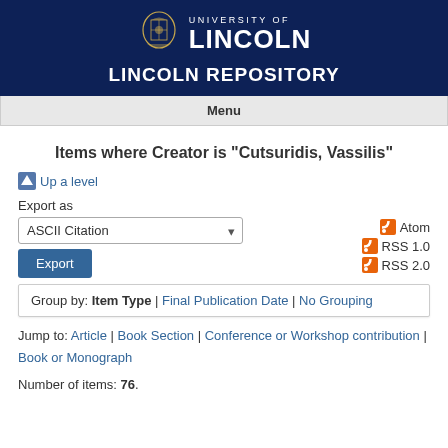[Figure (logo): University of Lincoln logo with crest and text]
LINCOLN REPOSITORY
Menu
Items where Creator is "Cutsuridis, Vassilis"
Up a level
Export as
ASCII Citation
Export
Atom
RSS 1.0
RSS 2.0
Group by: Item Type | Final Publication Date | No Grouping
Jump to: Article | Book Section | Conference or Workshop contribution | Book or Monograph
Number of items: 76.